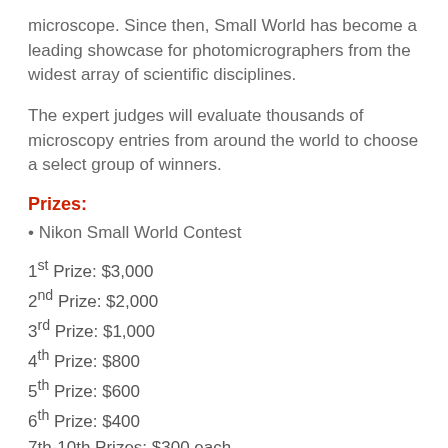microscope. Since then, Small World has become a leading showcase for photomicrographers from the widest array of scientific disciplines.
The expert judges will evaluate thousands of microscopy entries from around the world to choose a select group of winners.
Prizes:
• Nikon Small World Contest
1st Prize: $3,000
2nd Prize: $2,000
3rd Prize: $1,000
4th Prize: $800
5th Prize: $600
6th Prize: $400
7th-10th Prizes: $300 each
11th-20th Prizes: $200 each
• Nikon Small World In Motion Contest